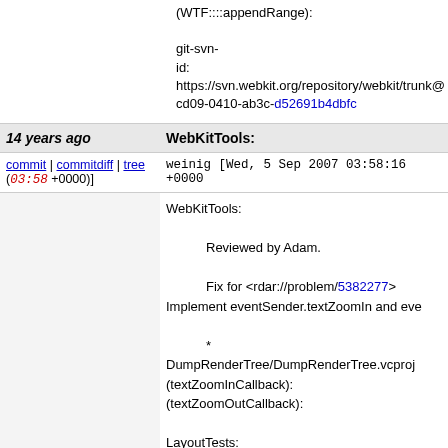(WTF::::appendRange):

git-svn-id: https://svn.webkit.org/repository/webkit/trunk@cd09-0410-ab3c-d52691b4dbfc
| 14 years ago | WebKitTools: |
| --- | --- |
| commit | commitdiff | tree (03:58 +0000)] | weinig [Wed, 5 Sep 2007 03:58:16 +0000 |
WebKitTools:

    Reviewed by Adam.

    Fix for <rdar://problem/5382277>
    Implement eventSender.textZoomIn and eve...

    * DumpRenderTree/DumpRenderTree.vcproj
    (textZoomInCallback):
    (textZoomOutCallback):

LayoutTests:

    Reviewed by Adam.

    Fix for <rdar://problem/5382277>
    Remove fast/css/ignore-text-zoom.html from skip list now that